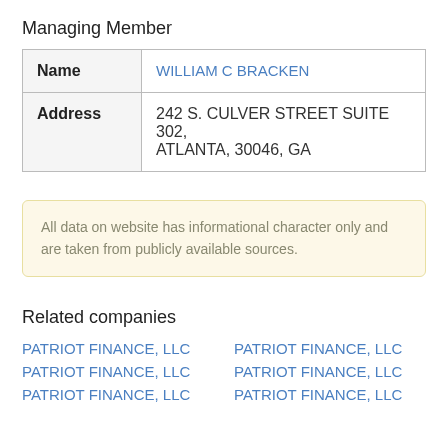Managing Member
| Name | WILLIAM C BRACKEN |
| Address | 242 S. CULVER STREET SUITE 302, ATLANTA, 30046, GA |
All data on website has informational character only and are taken from publicly available sources.
Related companies
PATRIOT FINANCE, LLC
PATRIOT FINANCE, LLC
PATRIOT FINANCE, LLC
PATRIOT FINANCE, LLC
PATRIOT FINANCE, LLC